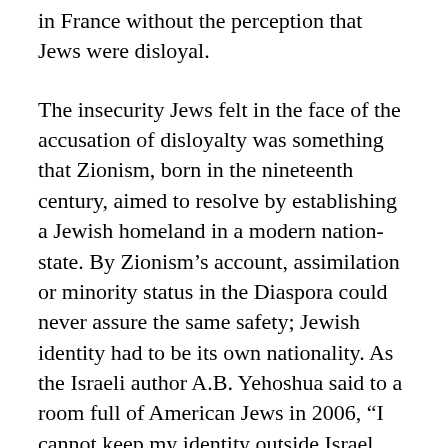in France without the perception that Jews were disloyal.
The insecurity Jews felt in the face of the accusation of disloyalty was something that Zionism, born in the nineteenth century, aimed to resolve by establishing a Jewish homeland in a modern nation-state. By Zionism’s account, assimilation or minority status in the Diaspora could never assure the same safety; Jewish identity had to be its own nationality. As the Israeli author A.B. Yehoshua said to a room full of American Jews in 2006, “I cannot keep my identity outside Israel. [Being] Israeli is my skin, not my jacket.”
Just as troubling in Trump’s statement as any echo of the old charge of dual loyalty, though, was its